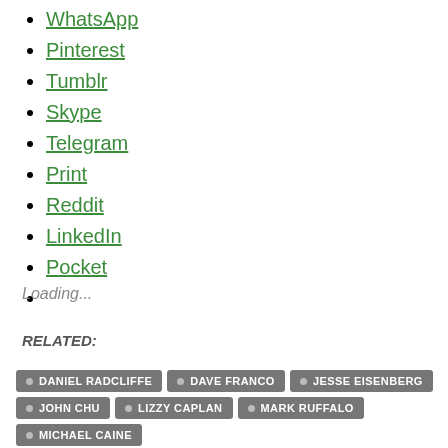WhatsApp
Pinterest
Tumblr
Skype
Telegram
Print
Reddit
LinkedIn
Pocket
Loading...
RELATED:
DANIEL RADCLIFFE • DAVE FRANCO • JESSE EISENBERG • JOHN CHU • LIZZY CAPLAN • MARK RUFFALO • MICHAEL CAINE • MORGAN FREEMAN • NOW YOU SEE ME • NOW YOU SEE ME 2